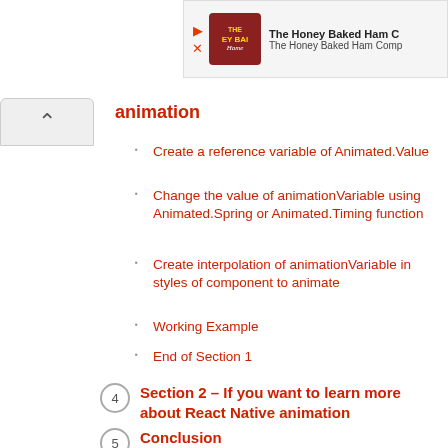[Figure (other): Advertisement banner for The Honey Baked Ham Company with logo and text]
animation
Create a reference variable of Animated.Value
Change the value of animationVariable using Animated.Spring or Animated.Timing function
Create interpolation of animationVariable in styles of component to animate
Working Example
End of Section 1
Section 2 – If you want to learn more about React Native animation
Conclusion
Related Posts: